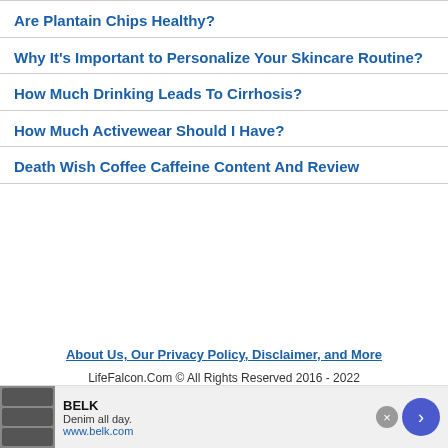Are Plantain Chips Healthy?
Why It’s Important to Personalize Your Skincare Routine?
How Much Drinking Leads To Cirrhosis?
How Much Activewear Should I Have?
Death Wish Coffee Caffeine Content And Review
About Us, Our Privacy Policy, Disclaimer, and More
LifeFalcon.Com © All Rights Reserved 2016 - 2022
[Figure (other): Advertisement banner for BELK: Denim all day. www.belk.com]